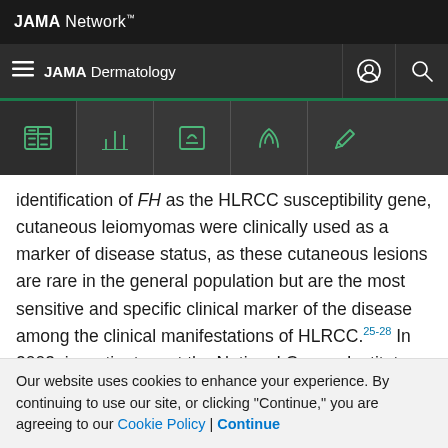JAMA Network
JAMA Dermatology
identification of FH as the HLRCC susceptibility gene, cutaneous leiomyomas were clinically used as a marker of disease status, as these cutaneous lesions are rare in the general population but are the most sensitive and specific clinical marker of the disease among the clinical manifestations of HLRCC.25-28 In 2003, investigators at the National Cancer Institute described the first 35 families in North America affected with HLRCC,27 and 55
Our website uses cookies to enhance your experience. By continuing to use our site, or clicking "Continue," you are agreeing to our Cookie Policy | Continue